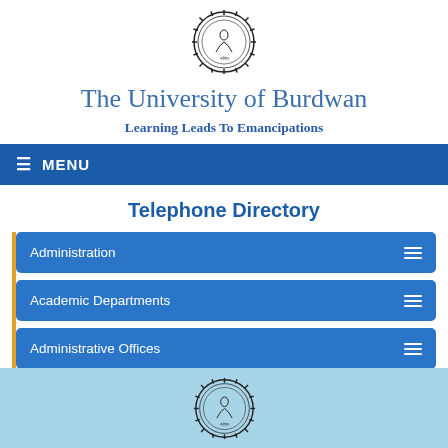[Figure (logo): University of Burdwan circular gear/cog emblem with a figure in the center, black outlines on white]
The University of Burdwan
Learning Leads To Emancipations
≡ MENU
Telephone Directory
Administration
Academic Departments
Administrative Offices
[Figure (logo): University of Burdwan circular gear/cog emblem, partially visible in footer area with light blue background]